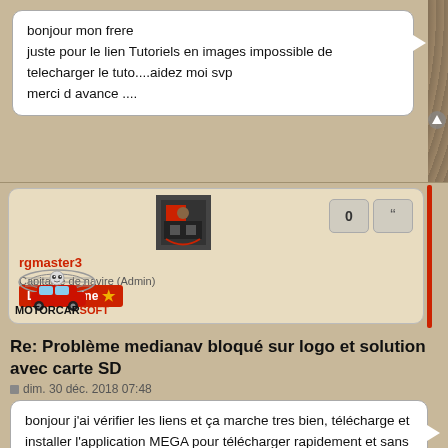bonjour mon frere
juste pour le lien Tutoriels en images impossible de telecharger le tuto....aidez moi svp
merci d avance ....
rgmaster3
Capitaine de navire (Admin)
Le Capitaine
Re: Problème medianav bloqué sur logo et solution avec carte SD
dim. 30 déc. 2018 07:48
bonjour j'ai vérifier les liens et ça marche tres bien, télécharge et installer l'application MEGA pour télécharger rapidement et sans bug
Comment s'inscrire et prendre un abonnement?